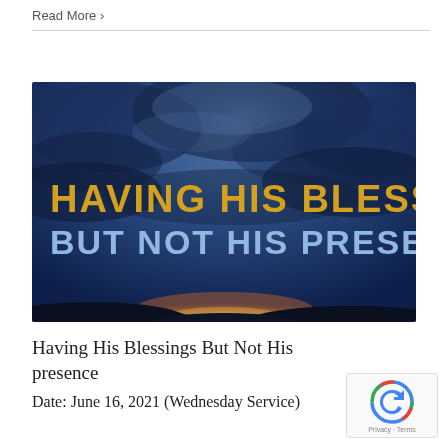Read More >
[Figure (photo): Dark stormy sky background with bold text overlay: 'HAVING HIS BLESSINGS, BUT NOT HIS PRESENCE'. The top text is in gold/orange, the bottom text is in light blue/white.]
Having His Blessings But Not His presence
Date: June 16, 2021 (Wednesday Service)